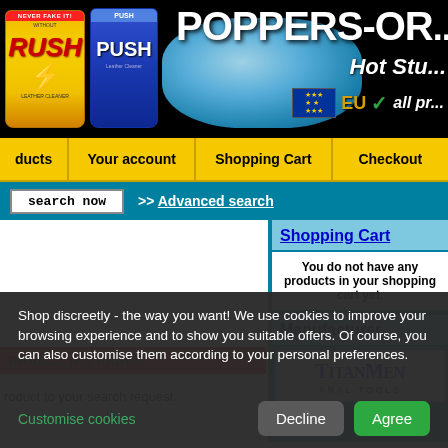[Figure (screenshot): Website banner with RUSH and PUSH product bottles, ice, EU flag, and POPPERS-OR... website header text]
ducts | Your account | Shopping Cart | Checkout
search now   >> Advanced search
Shopping Cart
You do not have any products in your shopping cart yet.
Manufacturer
[Figure (logo): TitanMen Anal Tools manufacturer logo]
Product not found!
roduct to your search request.
Shop discreetly - the way you want! We use cookies to improve your browsing experience and to show you suitable offers. Of course, you can also customise them according to your personal preferences.
Customise cookies
Decline   Agree